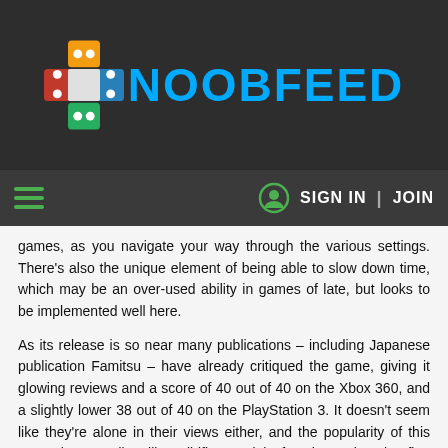[Figure (logo): NoobFeed logo with colorful cross-like icon and blue NOOBFEED text on dark background]
SIGN IN | JOIN
games, as you navigate your way through the various settings. There's also the unique element of being able to slow down time, which may be an over-used ability in games of late, but looks to be implemented well here.
As its release is so near many publications – including Japanese publication Famitsu – have already critiqued the game, giving it glowing reviews and a score of 40 out of 40 on the Xbox 360, and a slightly lower 38 out of 40 on the PlayStation 3. It doesn't seem like they're alone in their views either, and the popularity of this game is spreading like wildfire, and is fast becoming the first surprise package of the year.
Gran Turismo 5 (PS3)
It's one of the most drawn-out affairs in gaming history – the release of Gran Turismo 5. Many expected to see the game as early as the fall of 2007, then we were almost certain we'd see it towards the middle part of 2008, then it was the fall of 2008. It dragged on and the farce continued until it was strongly hinted that we'd see the game in the fall of 2009, but once again we were left disappointed. Now Sony has announced that Japan